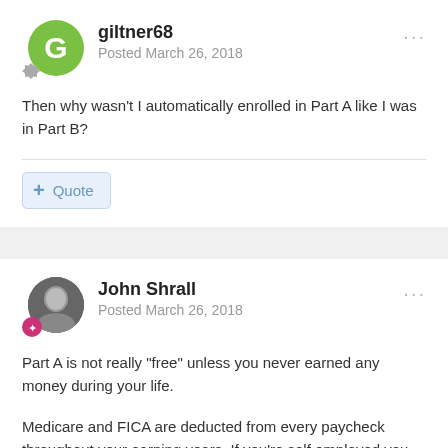giltner68
Posted March 26, 2018
Then why wasn't I automatically enrolled in Part A like I was in Part B?
+ Quote
John Shrall
Posted March 26, 2018
Part A is not really "free" unless you never earned any money during your life.
Medicare and FICA are deducted from every paycheck throughout your earning years. If you're self employed you pay the full 2.9% of your income for Medicare.